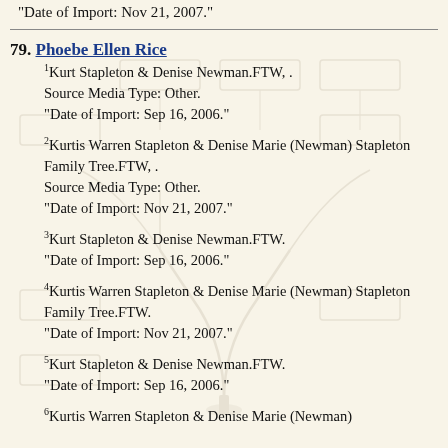"Date of Import: Nov 21, 2007."
79. Phoebe Ellen Rice
1Kurt Stapleton & Denise Newman.FTW, . Source Media Type: Other. "Date of Import: Sep 16, 2006."
2Kurtis Warren Stapleton & Denise Marie (Newman) Stapleton Family Tree.FTW, . Source Media Type: Other. "Date of Import: Nov 21, 2007."
3Kurt Stapleton & Denise Newman.FTW. "Date of Import: Sep 16, 2006."
4Kurtis Warren Stapleton & Denise Marie (Newman) Stapleton Family Tree.FTW. "Date of Import: Nov 21, 2007."
5Kurt Stapleton & Denise Newman.FTW. "Date of Import: Sep 16, 2006."
6Kurtis Warren Stapleton & Denise Marie (Newman)